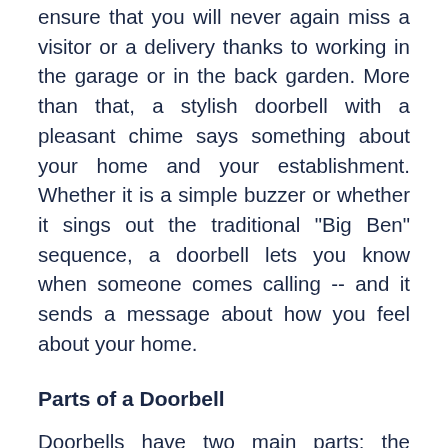ensure that you will never again miss a visitor or a delivery thanks to working in the garage or in the back garden. More than that, a stylish doorbell with a pleasant chime says something about your home and your establishment. Whether it is a simple buzzer or whether it sings out the traditional "Big Ben" sequence, a doorbell lets you know when someone comes calling -- and it sends a message about how you feel about your home.
Parts of a Doorbell
Doorbells have two main parts: the button that sends a signal, and the receiver that sets off the chime. With today's electronic resources, it is easy to obtain a receiver that can be programmed to one or more